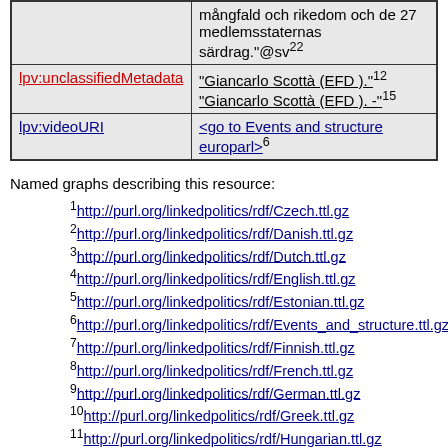| Property | Value |
| --- | --- |
|  | mångfald och rikedom och de 27 medlemsstaternas särdrag."@sv²² |
| lpv:unclassifiedMetadata | "Giancarlo Scottà (EFD )."¹²
"Giancarlo Scottà (EFD ). -"¹⁵ |
| lpv:videoURI | <go to Events and structure europarl>⁶ |
Named graphs describing this resource:
1 http://purl.org/linkedpolitics/rdf/Czech.ttl.gz
2 http://purl.org/linkedpolitics/rdf/Danish.ttl.gz
3 http://purl.org/linkedpolitics/rdf/Dutch.ttl.gz
4 http://purl.org/linkedpolitics/rdf/English.ttl.gz
5 http://purl.org/linkedpolitics/rdf/Estonian.ttl.gz
6 http://purl.org/linkedpolitics/rdf/Events_and_structure.ttl.gz
7 http://purl.org/linkedpolitics/rdf/Finnish.ttl.gz
8 http://purl.org/linkedpolitics/rdf/French.ttl.gz
9 http://purl.org/linkedpolitics/rdf/German.ttl.gz
10 http://purl.org/linkedpolitics/rdf/Greek.ttl.gz
11 http://purl.org/linkedpolitics/rdf/Hungarian.ttl.gz
12 http://purl.org/linkedpolitics/rdf/Italian.ttl.gz